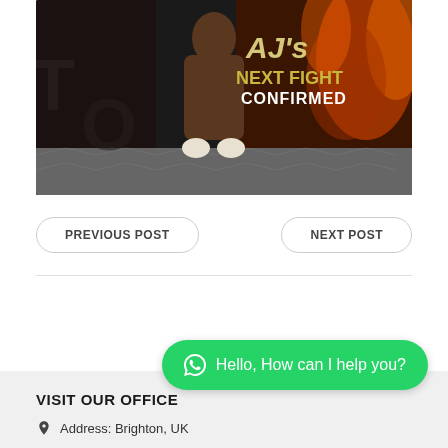[Figure (photo): Promotional boxing image showing a muscular boxer with wrapped fists against a dark background with diamond plate and fire elements. Text overlay reads: AJ's NEXT FIGHT CONFIRMED]
PREVIOUS POST
NEXT POST
VISIT OUR OFFICE
[Figure (other): WhatsApp chat bubble with text: Hello, How can I help you?]
Address: Brighton, UK